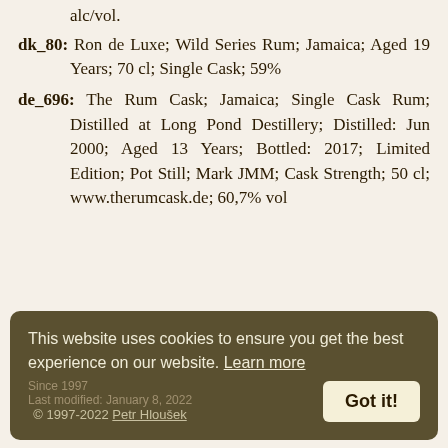alc/vol.
dk_80: Ron de Luxe; Wild Series Rum; Jamaica; Aged 19 Years; 70 cl; Single Cask; 59%
de_696: The Rum Cask; Jamaica; Single Cask Rum; Distilled at Long Pond Destillery; Distilled: Jun 2000; Aged 13 Years; Bottled: 2017; Limited Edition; Pot Still; Mark JMM; Cask Strength; 50 cl; www.therumcask.de; 60,7% vol
Since 1997   Last modified: January 8, 2022
© 1997-2022 Petr Hloušek
This website uses cookies to ensure you get the best experience on our website. Learn more   Got it!